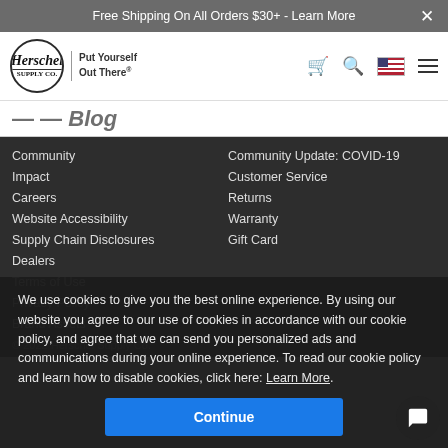Free Shipping On All Orders $30+ - Learn More
[Figure (logo): Herschel Supply Co logo with tagline 'Put Yourself Out There' and navigation icons]
Community | Impact | Careers | Website Accessibility | Supply Chain Disclosures | Dealers | Terms of Use | Privacy Policy | Brand Assets
Community Update: COVID-19 | Customer Service | Returns | Warranty | Gift Card
© 2022 Herschel Supply Co.
We use cookies to give you the best online experience. By using our website you agree to our use of cookies in accordance with our cookie policy, and agree that we can send you personalized ads and communications during your online experience. To read our cookie policy and learn how to disable cookies, click here: Learn More
Continue